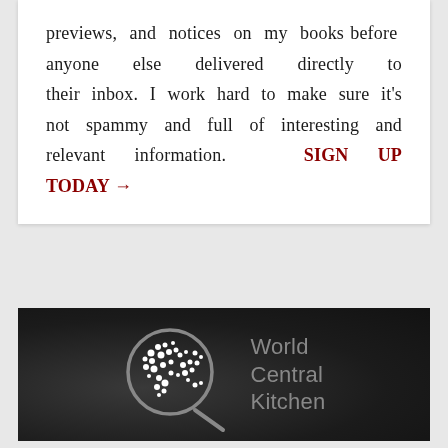previews, and notices on my books before anyone else delivered directly to their inbox. I work hard to make sure it's not spammy and full of interesting and relevant information. SIGN UP TODAY →
[Figure (logo): World Central Kitchen logo: a frying pan outline containing a globe made of white dots on grey background, with 'World Central Kitchen' text in grey to the right, on a dark textured background.]